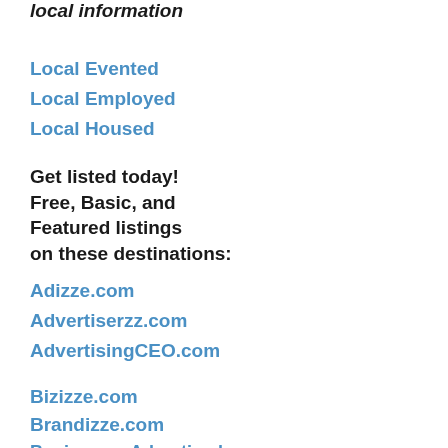local information
Local Evented
Local Employed
Local Housed
Get listed today! Free, Basic, and Featured listings on these destinations:
Adizze.com
Advertiserzz.com
AdvertisingCEO.com
Bizizze.com
Brandizze.com
BusinessesAdvertised.com
BusinessesCEO